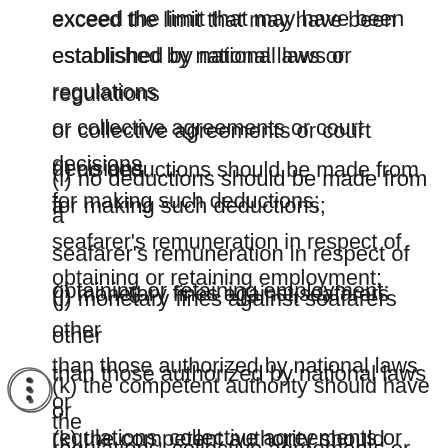exceed the limit that may have been established by national laws or regulations or collective agreements or court decisions for making such deductions;
(i) no deductions should be made from a seafarer's remuneration in respect of obtaining or retaining employment;
(j) monetary fines against seafarers other than those authorized by national laws or regulations, collective agreements or other measures should be prohibited;
(k) the competent authority should have the power to inspect stores and services provided on board ship to ensure that fair and reasonable prices are applied for the